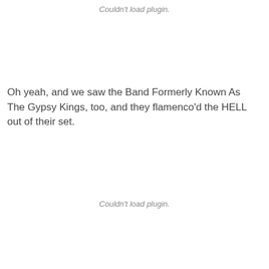Couldn't load plugin.
Oh yeah, and we saw the Band Formerly Known As The Gypsy Kings, too, and they flamenco'd the HELL out of their set.
Couldn't load plugin.